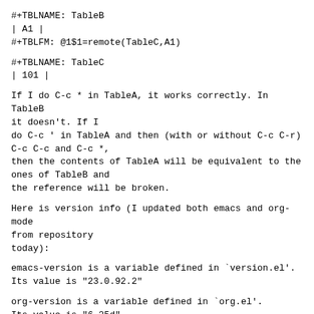#+TBLNAME: TableB
| A1 |
#+TBLFM: @1$1=remote(TableC,A1)
#+TBLNAME: TableC
| 101 |
If I do C-c * in TableA, it works correctly. In TableB
it doesn't. If I
do C-c ' in TableA and then (with or without C-c C-r)
C-c C-c and C-c *,
then the contents of TableA will be equivalent to the
ones of TableB and
the reference will be broken.
Here is version info (I updated both emacs and org-mode
from repository
today):
emacs-version is a variable defined in `version.el'.
Its value is "23.0.92.2"
org-version is a variable defined in `org.el'.
Its value is "6.25d"
Thanks for org!
Rares
^ permalink raw reply   [flat|nested] 2+ messages in